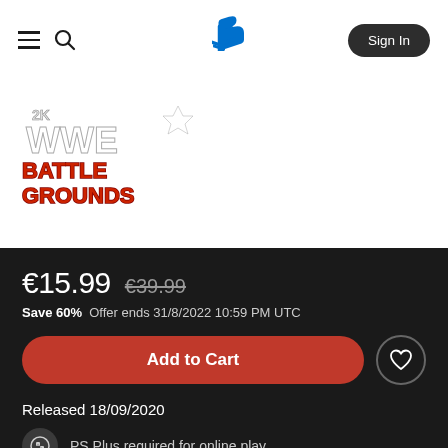PlayStation Store navigation header with hamburger menu, search icon, PlayStation logo, and Sign In button
[Figure (logo): WWE 2K Battlegrounds game logo — stylized text in red, white, and blue with 3D effect]
€15.99  €39.99
Save 60%  Offer ends 31/8/2022 10:59 PM UTC
Add to Cart
Released 18/09/2020
PS Plus required for online play
In-game purchases optional